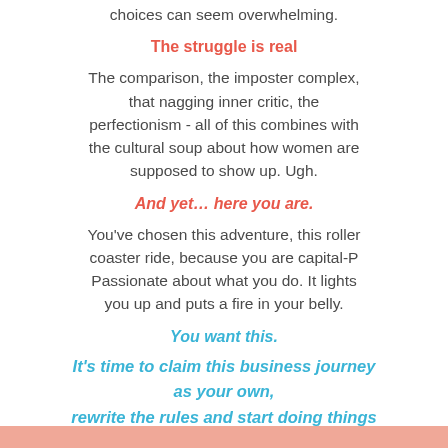choices can seem overwhelming.
The struggle is real
The comparison, the imposter complex, that nagging inner critic, the perfectionism - all of this combines with the cultural soup about how women are supposed to show up. Ugh.
And yet… here you are.
You've chosen this adventure, this roller coaster ride, because you are capital-P Passionate about what you do. It lights you up and puts a fire in your belly.
You want this.
It's time to claim this business journey as your own, rewrite the rules and start doing things on your own terms.